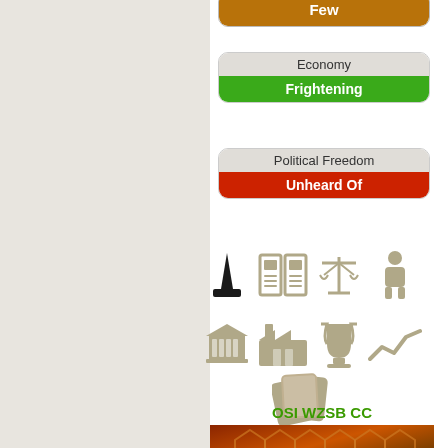[Figure (infographic): Badge showing 'Few' in orange]
[Figure (infographic): Badge showing Economy / Frightening in green]
[Figure (infographic): Badge showing Political Freedom / Unheard Of in red]
[Figure (infographic): Row of icons: monument, newspaper, scales, person]
[Figure (infographic): Row of icons: building/bank, factory, trophy, trend line]
[Figure (infographic): Cards icon]
OSI WZSB CC
[Figure (photo): Hexagonal pattern image with orange/red tones]